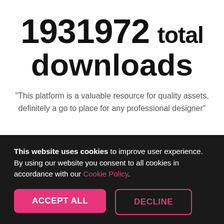1931972 total downloads
"This platform is a valuable resource for quality assets, definitely a go to place for any professional designer"
This website uses cookies to improve user experience. By using our website you consent to all cookies in accordance with our Cookie Policy.
ACCEPT ALL
DECLINE